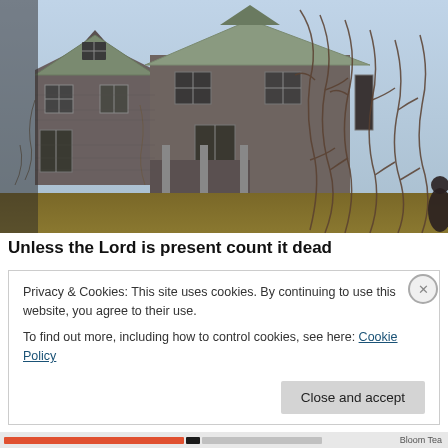[Figure (photo): Photograph of an abandoned, dilapidated two-story wooden house with sagging walls, broken windows, and dead vines covering much of the structure. Dry grass in foreground, bare trees visible behind.]
Unless the Lord is present count it dead
Privacy & Cookies: This site uses cookies. By continuing to use this website, you agree to their use.
To find out more, including how to control cookies, see here: Cookie Policy